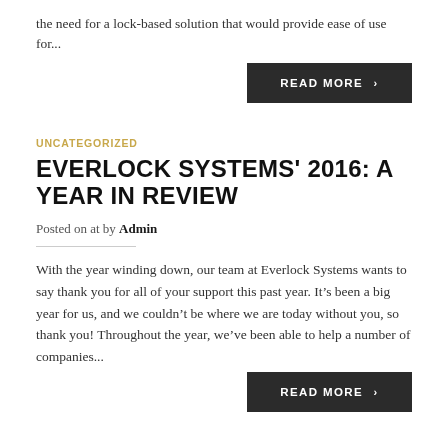the need for a lock-based solution that would provide ease of use for...
[Figure (other): READ MORE button (dark background)]
UNCATEGORIZED
EVERLOCK SYSTEMS' 2016: A YEAR IN REVIEW
Posted on at by Admin
With the year winding down, our team at Everlock Systems wants to say thank you for all of your support this past year. It's been a big year for us, and we couldn't be where we are today without you, so thank you! Throughout the year, we've been able to help a number of companies...
[Figure (other): READ MORE button (dark background)]